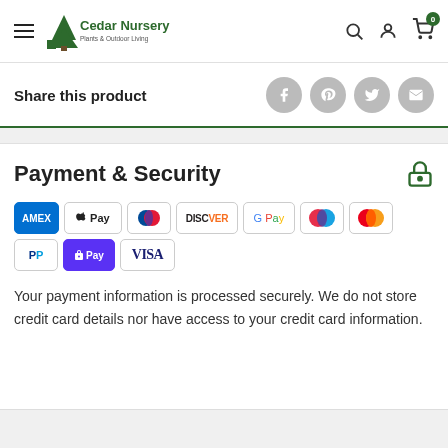Cedar Nursery — Plants & Outdoor Living
Share this product
Payment & Security
[Figure (other): Payment method logos: American Express, Apple Pay, Diners Club, Discover, Google Pay, Maestro, Mastercard, PayPal, Shop Pay, Visa]
Your payment information is processed securely. We do not store credit card details nor have access to your credit card information.